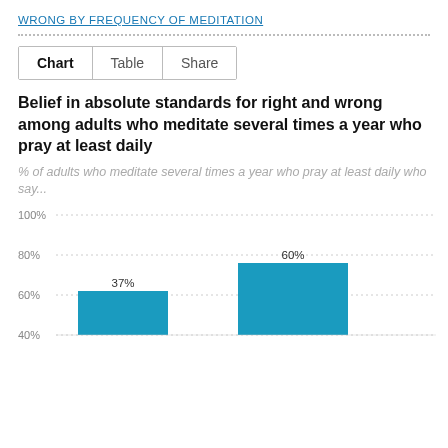WRONG BY FREQUENCY OF MEDITATION
Chart | Table | Share
Belief in absolute standards for right and wrong among adults who meditate several times a year who pray at least daily
% of adults who meditate several times a year who pray at least daily who say...
[Figure (bar-chart): Belief in absolute standards for right and wrong among adults who meditate several times a year who pray at least daily]